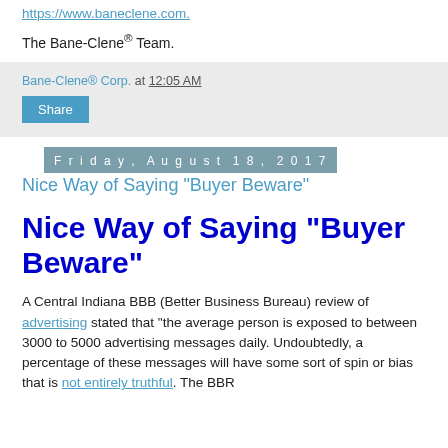https://www.baneclene.com.
The Bane-Clene® Team.
Bane-Clene® Corp. at 12:05 AM
Share
Friday, August 18, 2017
Nice Way of Saying "Buyer Beware"
Nice Way of Saying "Buyer Beware"
A Central Indiana BBB (Better Business Bureau) review of advertising stated that "the average person is exposed to between 3000 to 5000 advertising messages daily. Undoubtedly, a percentage of these messages will have some sort of spin or bias that is not entirely truthful. The BBR